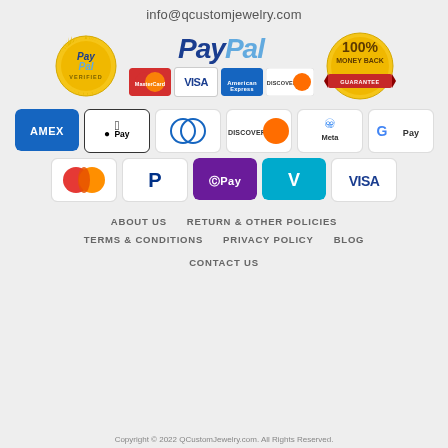info@qcustomjewelry.com
[Figure (logo): PayPal Verified badge (gold seal), PayPal logo with MasterCard/Visa/AmEx/Discover card icons, and 100% Money Back Guarantee badge]
[Figure (infographic): Payment method icons: AMEX, Apple Pay, Diners Club, Discover, Meta Pay, Google Pay, Mastercard, PayPal, OPay, Venmo, VISA]
ABOUT US    RETURN & OTHER POLICIES
TERMS & CONDITIONS    PRIVACY POLICY    BLOG
CONTACT US
Copyright © 2022 QCustomJewelry.com. All Rights Reserved.